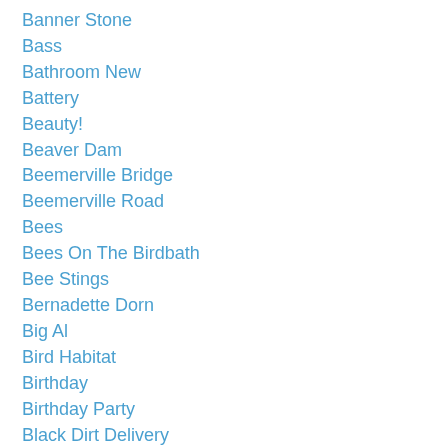Banner Stone
Bass
Bathroom New
Battery
Beauty!
Beaver Dam
Beemerville Bridge
Beemerville Road
Bees
Bees On The Birdbath
Bee Stings
Bernadette Dorn
Big Al
Bird Habitat
Birthday
Birthday Party
Black Dirt Delivery
Black Hawk
Black & White Duck
Blossoms
Bluegill